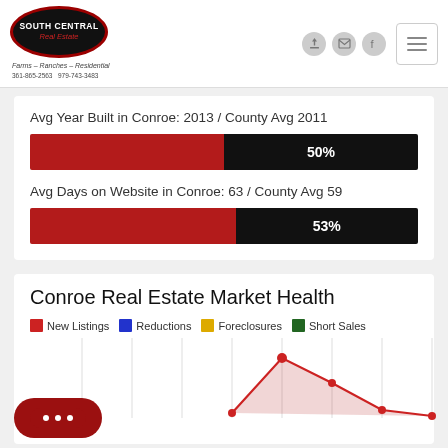[Figure (logo): South Central Real Estate logo — dark oval with red border, white text reading SOUTH CENTRAL Real Estate, subtext Farms - Ranches - Residential, phone numbers below]
Avg Year Built in Conroe: 2013 / County Avg 2011
[Figure (bar-chart): Avg Year Built in Conroe: 2013 / County Avg 2011]
Avg Days on Website in Conroe: 63 / County Avg 59
[Figure (bar-chart): Avg Days on Website in Conroe: 63 / County Avg 59]
Conroe Real Estate Market Health
[Figure (line-chart): Conroe Real Estate Market Health line chart with legend: New Listings (red), Reductions (blue), Foreclosures (gold), Short Sales (green). Red line peaks prominently in the visible area.]